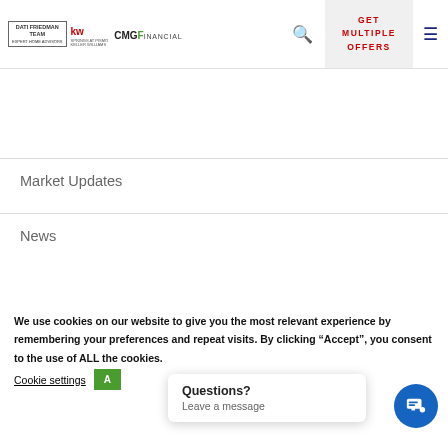DATI FRIEDMAN | KW | CMG FINANCIAL — header with logos, search, Get Multiple Offers, menu
Market Updates
News
Real Estate
Selling Your Home
Uncategorized
We use cookies on our website to give you the most relevant experience by remembering your preferences and repeat visits. By clicking “Accept”, you consent to the use of ALL the cookies.
Cookie settings | Accept
Questions? Leave a message